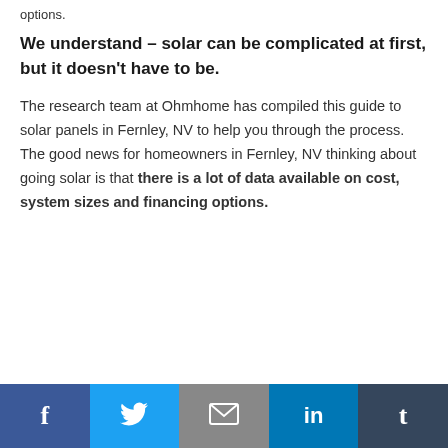options.
We understand – solar can be complicated at first, but it doesn't have to be.
The research team at Ohmhome has compiled this guide to solar panels in Fernley, NV to help you through the process. The good news for homeowners in Fernley, NV thinking about going solar is that there is a lot of data available on cost, system sizes and financing options.
Facebook | Twitter | Email | LinkedIn | Tumblr